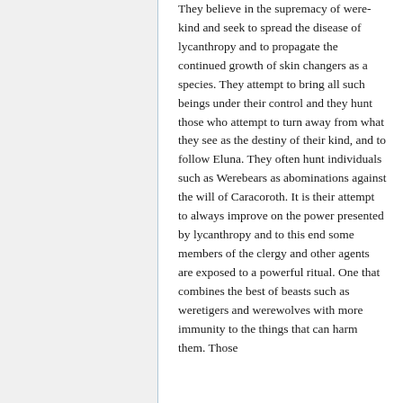They believe in the supremacy of were-kind and seek to spread the disease of lycanthropy and to propagate the continued growth of skin changers as a species. They attempt to bring all such beings under their control and they hunt those who attempt to turn away from what they see as the destiny of their kind, and to follow Eluna. They often hunt individuals such as Werebears as abominations against the will of Caracoroth. It is their attempt to always improve on the power presented by lycanthropy and to this end some members of the clergy and other agents are exposed to a powerful ritual. One that combines the best of beasts such as weretigers and werewolves with more immunity to the things that can harm them. Those